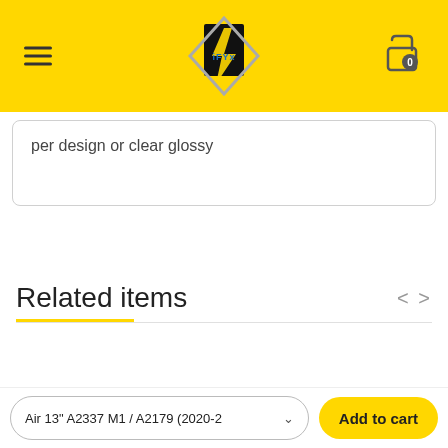[Figure (logo): Website header with yellow background, hamburger menu icon on left, central logo (iFyx/store logo with lightning bolt design), and shopping cart icon with badge showing 0 on right]
per design or clear glossy
Related items
iFyx
Case Cover for Macbook - Hand Drawn Astrology Planets Design
Air 13" A2337 M1 / A2179 (2020-2  Add to cart